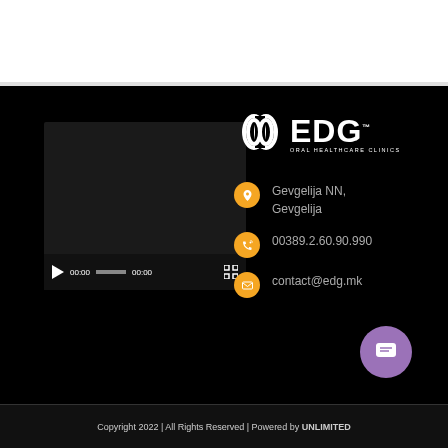[Figure (screenshot): Video player embedded in dark background showing a black video with playback controls (play button, 00:00 timecode, progress bar, 00:00 end time, fullscreen button)]
[Figure (logo): EDG Oral Healthcare Clinics logo — white tooth/link icon and EDG text in white with 'ORAL HEALTHCARE CLINICS' subtitle]
Gevgelija NN, Gevgelija
00389.2.60.90.990
contact@edg.mk
Copyright 2022 | All Rights Reserved | Powered by UNLIMITED